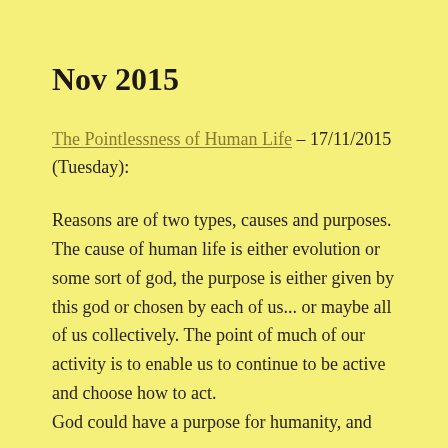Nov 2015
The Pointlessness of Human Life – 17/11/2015 (Tuesday):
Reasons are of two types, causes and purposes. The cause of human life is either evolution or some sort of god, the purpose is either given by this god or chosen by each of us... or maybe all of us collectively. The point of much of our activity is to enable us to continue to be active and choose how to act.
God could have a purpose for humanity, and